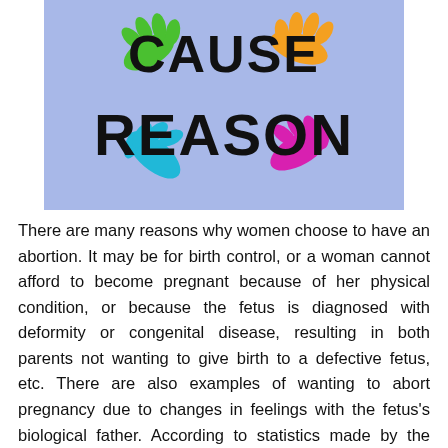[Figure (illustration): Illustrated graphic on a light blue background featuring colorful handprints (green, orange, pink/magenta, light blue) with the words 'CAUSE' and 'REASON' written in large bold black text overlaid on them.]
There are many reasons why women choose to have an abortion. It may be for birth control, or a woman cannot afford to become pregnant because of her physical condition, or because the fetus is diagnosed with deformity or congenital disease, resulting in both parents not wanting to give birth to a defective fetus, etc. There are also examples of wanting to abort pregnancy due to changes in feelings with the fetus's biological father. According to statistics made by the Alan Guttmacher Institute in the United States in 2000, a total of 1.31 million abortions were performed in the